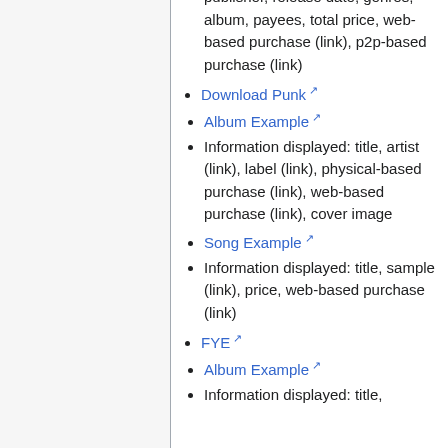publisher, release date, genres, album, payees, total price, web-based purchase (link), p2p-based purchase (link)
Download Punk
Album Example
Information displayed: title, artist (link), label (link), physical-based purchase (link), web-based purchase (link), cover image
Song Example
Information displayed: title, sample (link), price, web-based purchase (link)
FYE
Album Example
Information displayed: title,